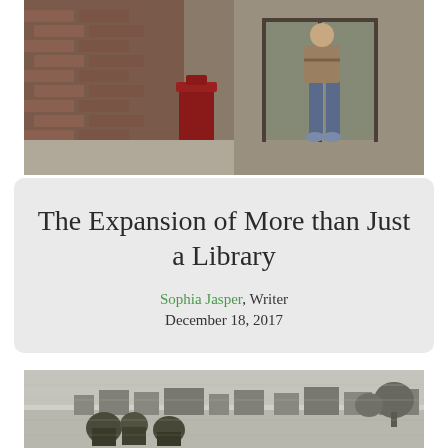[Figure (photo): Photo of a person exiting a brick building entrance, with a red trash can visible in the foreground and glass doors in the background.]
The Expansion of More than Just a Library
Sophia Jasper, Writer
December 18, 2017
[Figure (photo): Vintage black-and-white photo of an outdoor scene with people gathered, trees, and structures in the background.]